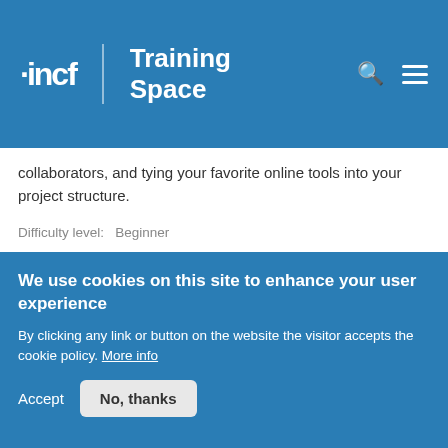[Figure (logo): INCF Training Space logo and navigation header with search and menu icons on blue background]
collaborators, and tying your favorite online tools into your project structure.
Difficulty level:   Beginner
Duration: 55:02
Speaker: : Ian Sullivan
Open Science Framework (OSF) in the classroom
We use cookies on this site to enhance your user experience
By clicking any link or button on the website the visitor accepts the cookie policy. More info
Accept
No, thanks